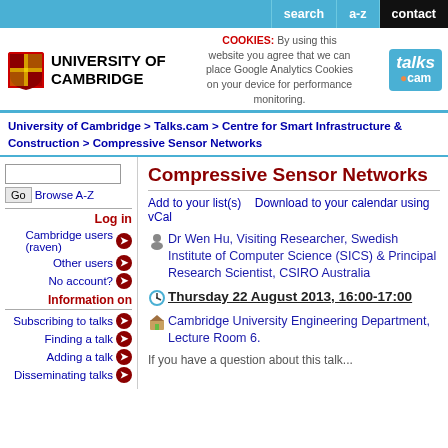search | a-z | contact
[Figure (logo): University of Cambridge logo with shield and text, Talks.cam logo, cookies notice]
University of Cambridge > Talks.cam > Centre for Smart Infrastructure & Construction > Compressive Sensor Networks
Compressive Sensor Networks
Add to your list(s)    Download to your calendar using vCal
Dr Wen Hu, Visiting Researcher, Swedish Institute of Computer Science (SICS) & Principal Research Scientist, CSIRO Australia
Thursday 22 August 2013, 16:00-17:00
Cambridge University Engineering Department, Lecture Room 6.
If you have a question about this talk...
Log in
Cambridge users (raven)
Other users
No account?
Information on
Subscribing to talks
Finding a talk
Adding a talk
Disseminating talks